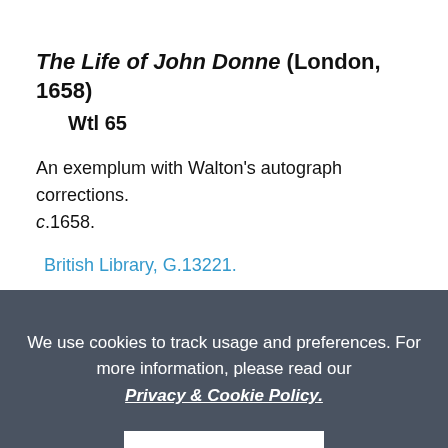The Life of John Donne (London, 1658)
Wtl 65
An exemplum with Walton's autograph corrections. c.1658.
British Library, G.13221.
Wtl 66
We use cookies to track usage and preferences. For more information, please read our Privacy & Cookie Policy.
ACCEPT
*Wtl 67